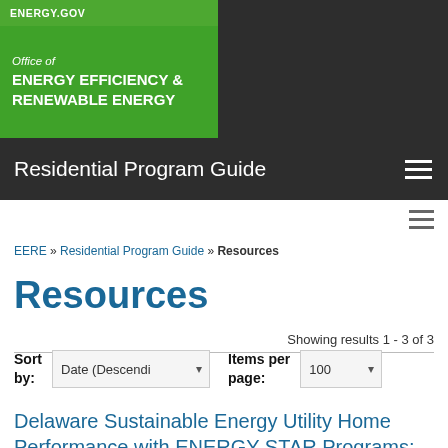ENERGY.GOV — Office of ENERGY EFFICIENCY & RENEWABLE ENERGY — Residential Program Guide
EERE » Residential Program Guide » Resources
Resources
Showing results 1 - 3 of 3
Sort by: Date (Descending)  Items per page: 100
Delaware Sustainable Energy Utility Home Performance with ENERGY STAR Programs: